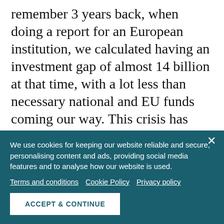remember 3 years back, when doing a report for an European institution, we calculated having an investment gap of almost 14 billion at that time, with a lot less than necessary national and EU funds coming our way. This crisis has pushed very much the modernization of healthcare systems, and has forced the funneling of more money into this sector, which otherwise would have been distributed elsewhere.
We use cookies for keeping our website reliable and secure, personalising content and ads, providing social media features and to analyse how our website is used.
Terms and conditions   Cookie Policy   Privacy policy
ACCEPT & CONTINUE